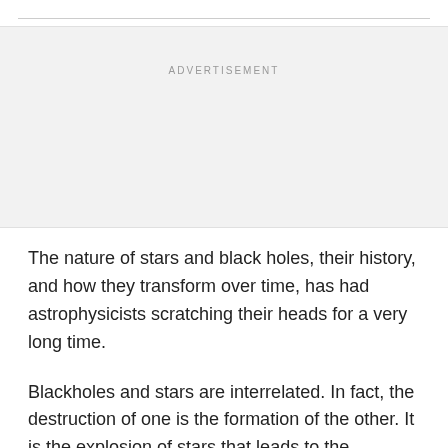[Figure (other): Advertisement placeholder box with light gray background and 'ADVERTISEMENT' label centered at top]
The nature of stars and black holes, their history, and how they transform over time, has had astrophysicists scratching their heads for a very long time.
Blackholes and stars are interrelated. In fact, the destruction of one is the formation of the other. It is the explosion of stars that leads to the formation of a black hole. A core-collapse supernova happens to be